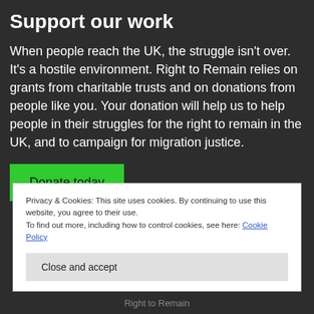Support our work
When people reach the UK, the struggle isn't over. It's a hostile environment. Right to Remain relies on grants from charitable trusts and on donations from people like you. Your donation will help us to help people in their struggles for the right to remain in the UK, and to campaign for migration justice.
Donate today
Privacy & Cookies: This site uses cookies. By continuing to use this website, you agree to their use.
To find out more, including how to control cookies, see here: Cookie Policy
Close and accept
Right to Remain